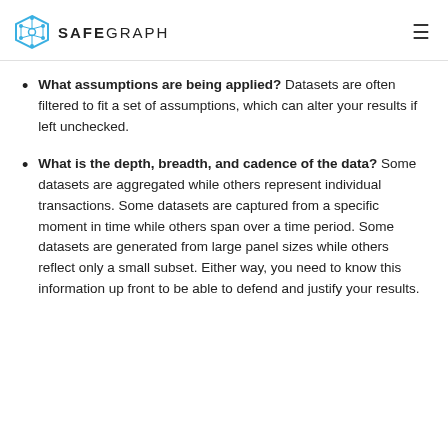SAFEGRAPH
What assumptions are being applied? Datasets are often filtered to fit a set of assumptions, which can alter your results if left unchecked.
What is the depth, breadth, and cadence of the data? Some datasets are aggregated while others represent individual transactions. Some datasets are captured from a specific moment in time while others span over a time period. Some datasets are generated from large panel sizes while others reflect only a small subset. Either way, you need to know this information up front to be able to defend and justify your results.